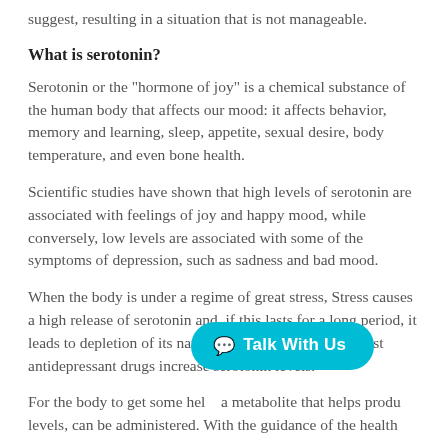suggest, resulting in a situation that is not manageable.
What is serotonin?
Serotonin or the "hormone of joy" is a chemical substance of the human body that affects our mood: it affects behavior, memory and learning, sleep, appetite, sexual desire, body temperature, and even bone health.
Scientific studies have shown that high levels of serotonin are associated with feelings of joy and happy mood, while conversely, low levels are associated with some of the symptoms of depression, such as sadness and bad mood.
When the body is under a regime of great stress, Stress causes a high release of serotonin and, if this lasts for a long period, it leads to depletion of its natural reserves. That's why most antidepressant drugs increase serotonin levels.
For the body to get some hel... a metabolite that helps produ... levels, can be administered. With the guidance of the health